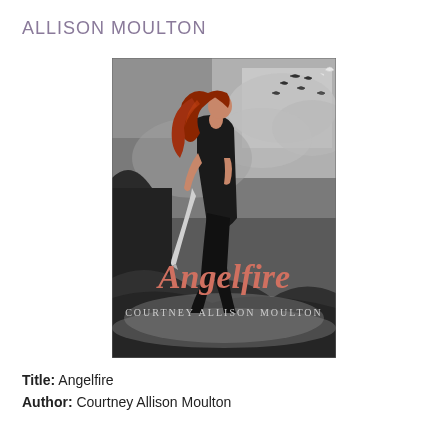ALLISON MOULTON
[Figure (illustration): Book cover of 'Angelfire' by Courtney Allison Moulton. A young woman with flowing red hair dressed in black stands on a rocky surface holding a sword. The background shows a dramatic stormy sky with flying birds/creatures. The title 'Angelfire' appears in large salmon/pink serif font in the lower portion, with 'Courtney Allison Moulton' in smaller text below.]
Title: Angelfire
Author: Courtney Allison Moulton